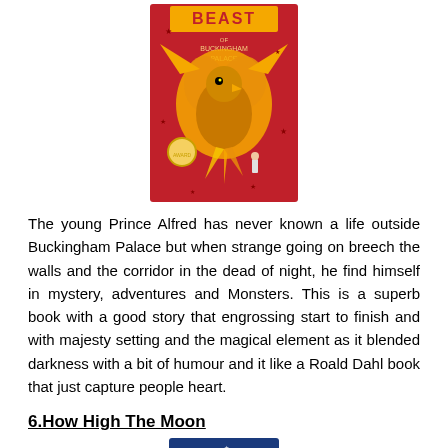[Figure (photo): Book cover of 'Beast of Buckingham Palace' - red cover with a golden phoenix and a small figure]
The young Prince Alfred has never known a life outside Buckingham Palace but when strange going on breech the walls and the corridor in the dead of night, he find himself in mystery, adventures and Monsters. This is a superb book with a good story that engrossing start to finish and with majesty setting and the magical element as it blended darkness with a bit of humour and it like a Roald Dahl book that just capture people heart.
6.How High The Moon
[Figure (photo): Book cover of 'How High The Moon' - blue cover with moon and stars]